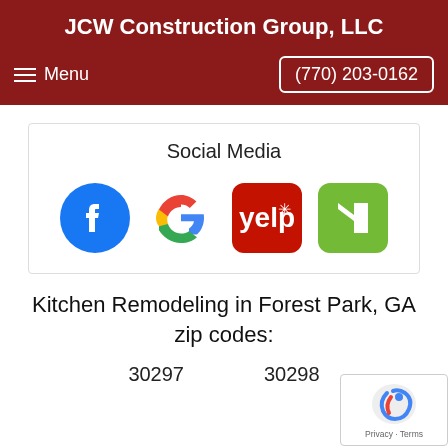JCW Construction Group, LLC
Menu   (770) 203-0162
Social Media
[Figure (logo): Social media icons: Facebook, Google, Yelp, Houzz]
Kitchen Remodeling in Forest Park, GA zip codes:
30297   30298